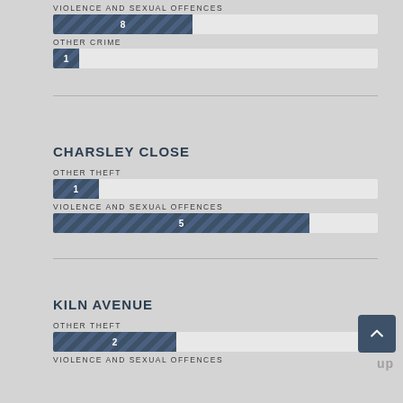[Figure (bar-chart): Violence and Sexual Offences]
[Figure (bar-chart): Other Crime]
CHARSLEY CLOSE
[Figure (bar-chart): Other Theft]
[Figure (bar-chart): Violence and Sexual Offences]
KILN AVENUE
[Figure (bar-chart): Other Theft]
VIOLENCE AND SEXUAL OFFENCES